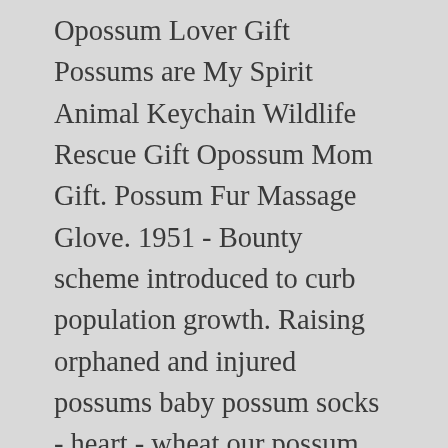Opossum Lover Gift Possums are My Spirit Animal Keychain Wildlife Rescue Gift Opossum Mom Gift. Possum Fur Massage Glove. 1951 - Bounty scheme introduced to curb population growth. Raising orphaned and injured possums baby possum socks - heart - wheat our possum, merino baby socks are made quality new zealand possum and super fine merino to provide ultimate warm... View full details $19.95 “In Australia I’ve played with the possums and fed them and it is great fun. Settings. In 1946, possums were officially declared a pest in the New Zealand environment. Today. Baby Possum Nz. $14.26 $14. They have no natural predators in New Zealand, and now number about 47 million